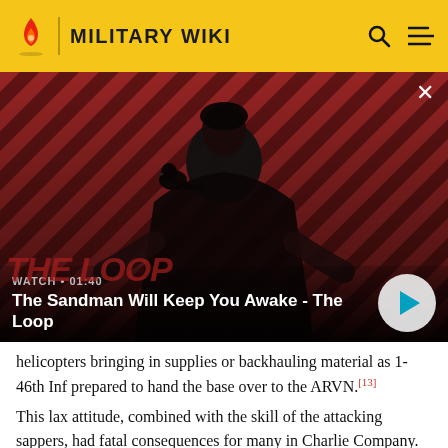MILITARY WIKI
[Figure (screenshot): Video thumbnail showing a dark-clad figure with a raven on their shoulder against a red diagonal striped background. Overlay shows 'WATCH • 01:40' and title 'The Sandman Will Keep You Awake - The Loop' with a play button.]
helicopters bringing in supplies or backhauling material as 1-46th Inf prepared to hand the base over to the ARVN.[13]
This lax attitude, combined with the skill of the attacking sappers, had fatal consequences for many in Charlie Company. Although not "cringing in their bunkers",[14] the defenders of Mang Buk were armed for a...